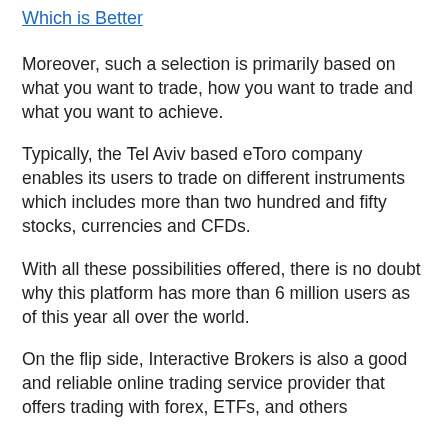Which is Better
Moreover, such a selection is primarily based on what you want to trade, how you want to trade and what you want to achieve.
Typically, the Tel Aviv based eToro company enables its users to trade on different instruments which includes more than two hundred and fifty stocks, currencies and CFDs.
With all these possibilities offered, there is no doubt why this platform has more than 6 million users as of this year all over the world.
On the flip side, Interactive Brokers is also a good and reliable online trading service provider that offers trading with forex, ETFs, and others